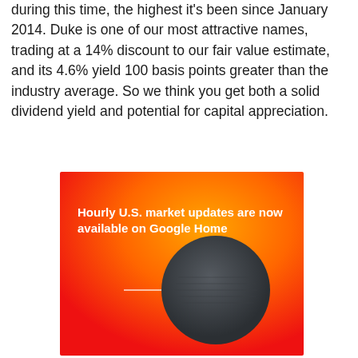during this time, the highest it's been since January 2014. Duke is one of our most attractive names, trading at a 14% discount to our fair value estimate, and its 4.6% yield 100 basis points greater than the industry average. So we think you get both a solid dividend yield and potential for capital appreciation.
[Figure (illustration): Advertisement banner with orange-to-red gradient background featuring a Google Home Mini smart speaker device and white text reading 'Hourly U.S. market updates are now available on Google Home']